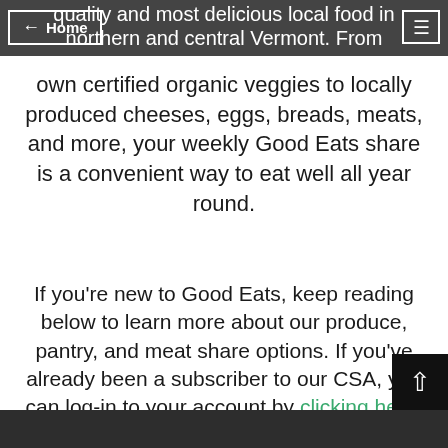← Home  ≡  quality and most delicious local food in northern and central Vermont. From our
own certified organic veggies to locally produced cheeses, eggs, breads, meats, and more, your weekly Good Eats share is a convenient way to eat well all year round.
If you're new to Good Eats, keep reading below to learn more about our produce, pantry, and meat share options. If you've already been a subscriber to our CSA, you can log-in to your account by clicking here.